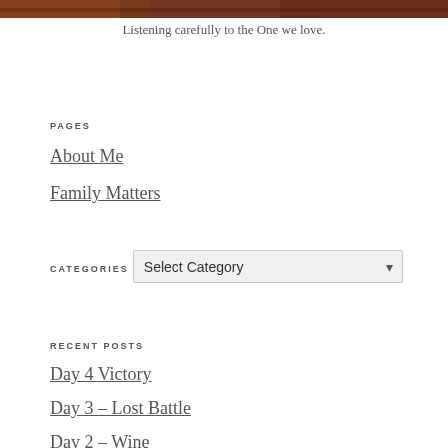[Figure (photo): Decorative image strip at the top of the page, partially visible, showing warm reddish-brown tones]
Listening carefully to the One we love.
PAGES
About Me
Family Matters
CATEGORIES
Select Category
RECENT POSTS
Day 4 Victory
Day 3 – Lost Battle
Day 2 – Wine
Day 1 – It's Saturday, June 1, 2019